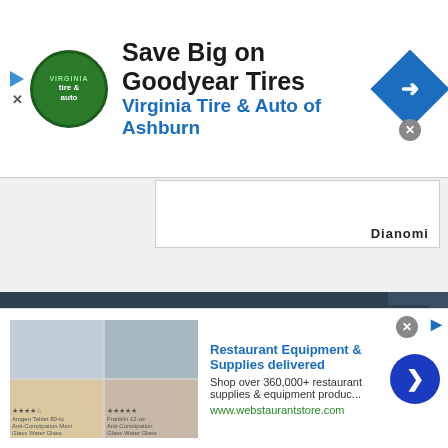[Figure (screenshot): Advertisement banner: Save Big on Goodyear Tires - Virginia Tire & Auto of Ashburn with logo and navigation arrow diamond icon]
[Figure (logo): Dianomi ad network logo in a white box]
Latest Updates on COVID-19
Our website uses cookies for analytics, advertising and to improve our site. By using our site you agree to our use of cookies. To find out more, including how to change your settings, see our Cookie Policy  Learn More
[Figure (screenshot): Bottom advertisement: Restaurant Equipment & Supplies delivered - Shop over 360,000+ restaurant supplies & equipment produc... www.webstaurantstore.com with blue arrow button]